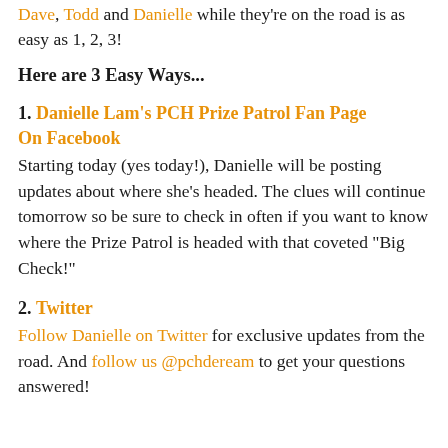Dave, Todd and Danielle while they're on the road is as easy as 1, 2, 3!
Here are 3 Easy Ways...
1. Danielle Lam's PCH Prize Patrol Fan Page On Facebook
Starting today (yes today!), Danielle will be posting updates about where she's headed. The clues will continue tomorrow so be sure to check in often if you want to know where the Prize Patrol is headed with that coveted "Big Check!"
2. Twitter
Follow Danielle on Twitter for exclusive updates from the road. And follow us @pchdeream to get your questions answered!